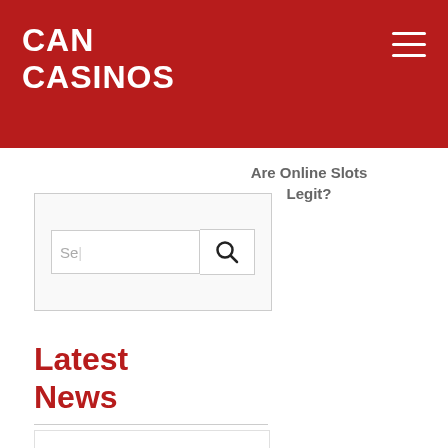CAN CASINOS
Are Online Slots Legit?
[Figure (other): Search box with text input placeholder 'Se...' and a magnifying glass search button]
Latest News
Can You Win A Lot of Money on Penny